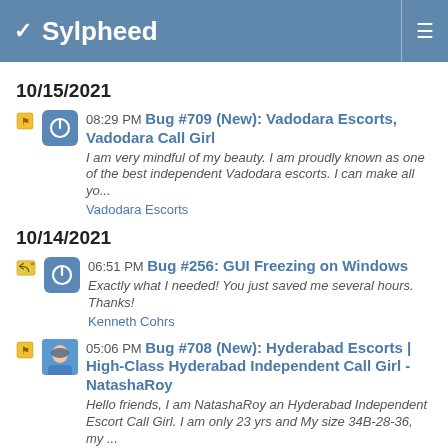Sylpheed
10/15/2021
08:29 PM Bug #709 (New): Vadodara Escorts, Vadodara Call Girl
I am very mindful of my beauty. I am proudly known as one of the best independent Vadodara escorts. I can make all yo...
Vadodara Escorts
10/14/2021
06:51 PM Bug #256: GUI Freezing on Windows
Exactly what I needed! You just saved me several hours. Thanks!
Kenneth Cohrs
05:06 PM Bug #708 (New): Hyderabad Escorts | High-Class Hyderabad Independent Call Girl - NatashaRoy
Hello friends, I am NatashaRoy an Hyderabad Independent Escort Call Girl. I am only 23 yrs and My size 34B-28-36, my ...
Natasha Roy
« Previous   Next »